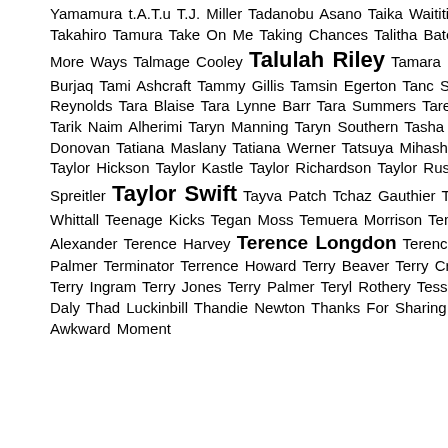Yamamura t.A.T.u T.J. Miller Tadanobu Asano Taika Waititi Taissa Farmiga Takahiro Tamura Take On Me Taking Chances Talitha Bateman Taller In More Ways Talmage Cooley Talulah Riley Tamara Mello Tamer Burjaq Tami Ashcraft Tammy Gillis Tamsin Egerton Tanc Sade Tanya Reynolds Tara Blaise Tara Lynne Barr Tara Summers Tareiq Holmes-Dennis Tarik Naim Alherimi Taryn Manning Taryn Southern Tasha Smith Tate Donovan Tatiana Maslany Tatiana Werner Tatsuya Mihashi Taylor Blackwell Taylor Hickson Taylor Kastle Taylor Richardson Taylor Russell Taylor Spreitler Taylor Swift Tayva Patch Tchaz Gauthier Ted Ray Ted Whittall Teenage Kicks Tegan Moss Temuera Morrison Tennis Court Terence Alexander Terence Harvey Terence Longdon Terence Rigby Teresa Palmer Terminator Terrence Howard Terry Beaver Terry Crews Terry Gilliam Terry Ingram Terry Jones Terry Palmer Teryl Rothery Tessa Thompson Tess Daly Thad Luckinbill Thandie Newton Thanks For Sharing Thank U That Awkward Moment